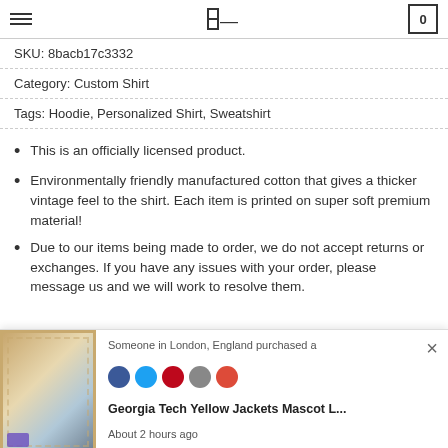Navigation header with hamburger menu, logo, and cart (0)
SKU: 8bacb17c3332
Category: Custom Shirt
Tags: Hoodie, Personalized Shirt, Sweatshirt
This is an officially licensed product.
Environmentally friendly manufactured cotton that gives a thicker vintage feel to the shirt. Each item is printed on super soft premium material!
Due to our items being made to order, we do not accept returns or exchanges. If you have any issues with your order, please message us and we will work to resolve them.
Someone in London, England purchased a
Georgia Tech Yellow Jackets Mascot L...
About 2 hours ago